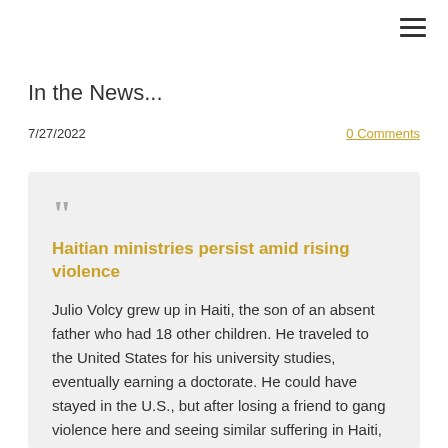≡
In the News...
7/27/2022
0 Comments
Haitian ministries persist amid rising violence

Julio Volcy grew up in Haiti, the son of an absent father who had 18 other children. He traveled to the United States for his university studies, eventually earning a doctorate. He could have stayed in the U.S., but after losing a friend to gang violence here and seeing similar suffering in Haiti, Volcy felt called to travel